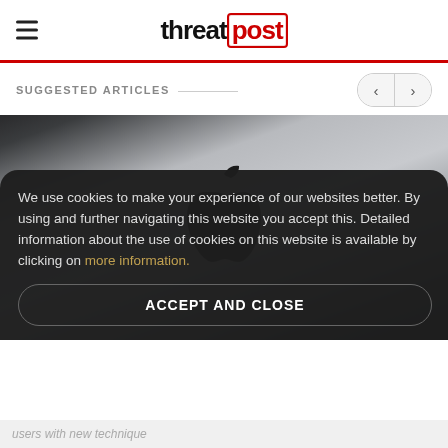threatpost
SUGGESTED ARTICLES
[Figure (photo): Close-up photo of the back of a silver iMac showing the Apple logo in dark/black finish against the brushed aluminum surface.]
We use cookies to make your experience of our websites better. By using and further navigating this website you accept this. Detailed information about the use of cookies on this website is available by clicking on more information.
ACCEPT AND CLOSE
users with new technique